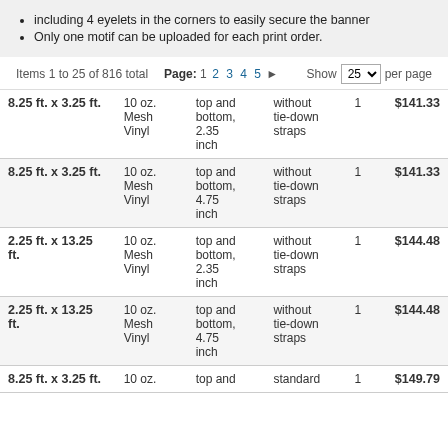including 4 eyelets in the corners to easily secure the banner
Only one motif can be uploaded for each print order.
Items 1 to 25 of 816 total   Page: 1 2 3 4 5 ▶   Show 25 per page
| Dimensions | Material | Hem | Straps | Qty | Price |
| --- | --- | --- | --- | --- | --- |
| 8.25 ft. x 3.25 ft. | 10 oz. Mesh Vinyl | top and bottom, 2.35 inch | without tie-down straps | 1 | $141.33 |
| 8.25 ft. x 3.25 ft. | 10 oz. Mesh Vinyl | top and bottom, 4.75 inch | without tie-down straps | 1 | $141.33 |
| 2.25 ft. x 13.25 ft. | 10 oz. Mesh Vinyl | top and bottom, 2.35 inch | without tie-down straps | 1 | $144.48 |
| 2.25 ft. x 13.25 ft. | 10 oz. Mesh Vinyl | top and bottom, 4.75 inch | without tie-down straps | 1 | $144.48 |
| 8.25 ft. x 3.25 ft. | 10 oz. | top and | standard | 1 | $149.79 |